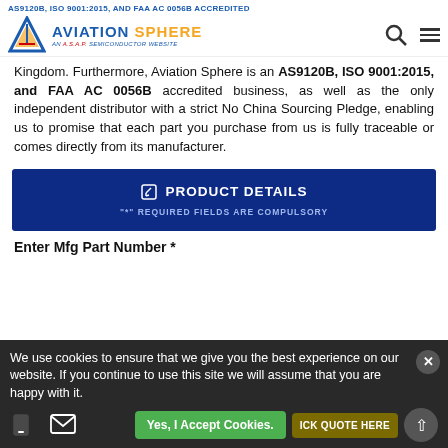AS9120B, ISO 9001:2015, AND FAA AC 0056B ACCREDITED
[Figure (logo): Aviation Sphere logo with triangle icon and 'AN A.S.A.P. SEMICONDUCTOR WEBSITE' tagline]
Kingdom. Furthermore, Aviation Sphere is an AS9120B, ISO 9001:2015, and FAA AC 0056B accredited business, as well as the only independent distributor with a strict No China Sourcing Pledge, enabling us to promise that each part you purchase from us is fully traceable or comes directly from its manufacturer.
PRODUCT DETAILS
"*" REQUIRED FIELDS ARE COMPULSORY
Enter Mfg Part Number *
We use cookies to ensure that we give you the best experience on our website. If you continue to use this site we will assume that you are happy with it.